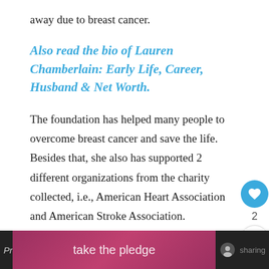away due to breast cancer.
Also read the bio of Lauren Chamberlain: Early Life, Career, Husband & Net Worth.
The foundation has helped many people to overcome breast cancer and save the life. Besides that, she also has supported 2 different organizations from the charity collected, i.e., American Heart Association and American Stroke Association.
Moreover, Jennie has started a project named